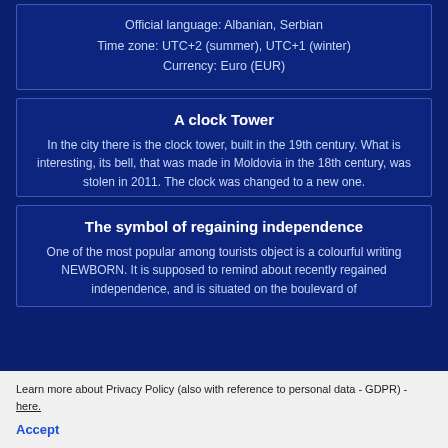Official language: Albanian, Serbian
Time zone: UTC+2 (summer), UTC+1 (winter)
Currency: Euro (EUR)
A clock Tower
In the city there is the clock tower, built in the 19th century. What is interesting, its bell, that was made in Moldovia in the 18th century, was stolen in 2011. The clock was changed to a new one.
The symbol of regaining independence
One of the most popular among tourists object is a colourful writing NEWBORN. It is supposed to remind about recently regained independence, and is situated on the boulevard of
Learn more about Privacy Policy (also with reference to personal data - GDPR) - here. Accept